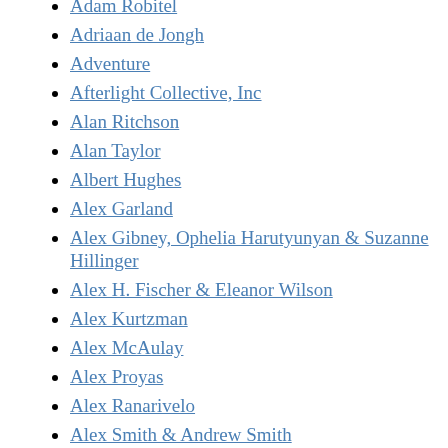Adam Robitel
Adriaan de Jongh
Adventure
Afterlight Collective, Inc
Alan Ritchson
Alan Taylor
Albert Hughes
Alex Garland
Alex Gibney, Ophelia Harutyunyan & Suzanne Hillinger
Alex H. Fischer & Eleanor Wilson
Alex Kurtzman
Alex McAulay
Alex Proyas
Alex Ranarivelo
Alex Smith & Andrew Smith
Alex Winter
Alexander Payne
algoriddim GmbH